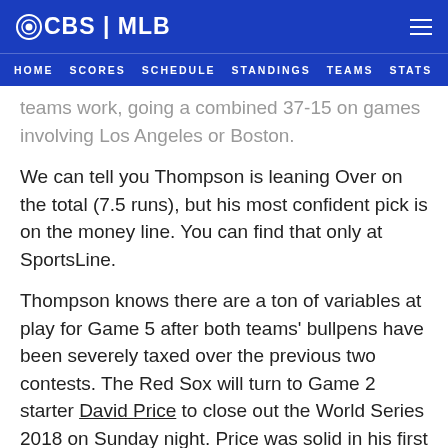CBS | MLB
HOME  SCORES  SCHEDULE  STANDINGS  TEAMS  STATS
teams work, going a combined 37-15 on games involving Los Angeles or Boston.
We can tell you Thompson is leaning Over on the total (7.5 runs), but his most confident pick is on the money line. You can find that only at SportsLine.
Thompson knows there are a ton of variables at play for Game 5 after both teams' bullpens have been severely taxed over the previous two contests. The Red Sox will turn to Game 2 starter David Price to close out the World Series 2018 on Sunday night. Price was solid in his first World Series start, picking